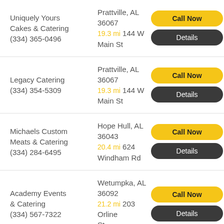Uniquely Yours Cakes & Catering (334) 365-0496 | Prattville, AL 36067 | 19.3 mi 144 W Main St
Legacy Catering (334) 354-5309 | Prattville, AL 36067 | 19.3 mi 144 W Main St
Michaels Custom Meats & Catering (334) 284-6495 | Hope Hull, AL 36043 | 20.4 mi 624 Windham Rd
Academy Events & Catering (334) 567-7322 | Wetumpka, AL 36092 | 21.2 mi 203 Orline St